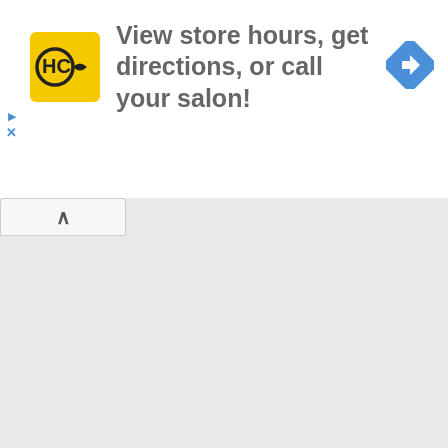[Figure (screenshot): Advertisement banner with HC (Hair Club) logo in yellow square, text 'View store hours, get directions, or call your salon!' and a blue diamond navigation icon on the right. Small blue play and X controls on the left side.]
[Figure (screenshot): A collapsed/expanded UI element with an up-arrow (caret) tab button on a gray background area.]
Lauren May 21, 2014 at 10:00 PM

Haha, I love that this will make me 'more amazing'. I'm in desperate need of that! Really though, this looks insane! I'm envisioning a tablespoon of this in my smoothies making some sort of caramel deliciousness. :-)
Reply
▾ Replies